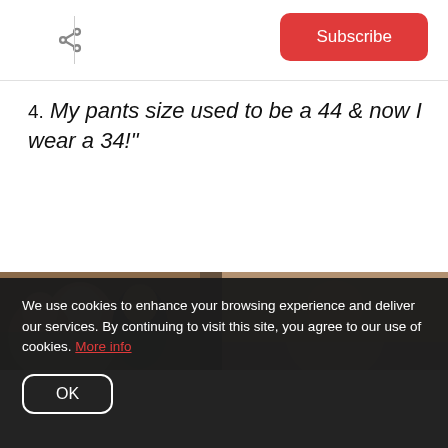Subscribe
4. My pants size used to be a 44 & now I wear a 34!"
[Figure (photo): Two side-by-side photos showing people, left photo shows multiple people in a group, right photo shows a person with short hair]
We use cookies to enhance your browsing experience and deliver our services. By continuing to visit this site, you agree to our use of cookies. More info
OK